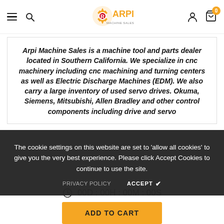Arpi Machine Sales Inc. — navigation header with logo, hamburger menu, search, user icon, cart (0)
Arpi Machine Sales is a machine tool and parts dealer located in Southern California. We specialize in cnc machinery including cnc machining and turning centers as well as Electric Discharge Machines (EDM). We also carry a large inventory of used servo drives. Okuma, Siemens, Mitsubishi, Allen Bradley and other control components including drive and servo
The cookie settings on this website are set to 'allow all cookies' to give you the very best experience. Please click Accept Cookies to continue to use the site.
PRIVACY POLICY   ACCEPT ✔
00D : 00H : 00M : 00S
ADD TO CART